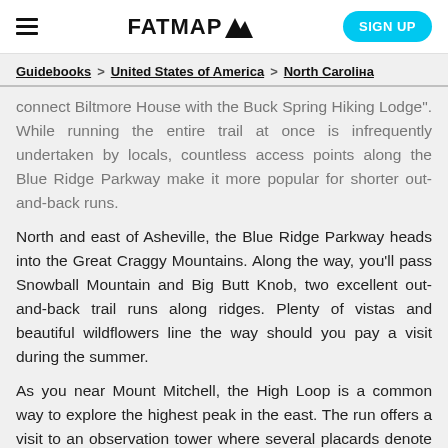FATMAP (logo with mountain icon) | SIGN UP
Guidebooks > United States of America > North Carolina
connect Biltmore House with the Buck Spring Hiking Lodge". While running the entire trail at once is infrequently undertaken by locals, countless access points along the Blue Ridge Parkway make it more popular for shorter out-and-back runs.
North and east of Asheville, the Blue Ridge Parkway heads into the Great Craggy Mountains. Along the way, you'll pass Snowball Mountain and Big Butt Knob, two excellent out-and-back trail runs along ridges. Plenty of vistas and beautiful wildflowers line the way should you pay a visit during the summer.
As you near Mount Mitchell, the High Loop is a common way to explore the highest peak in the east. The run offers a visit to an observation tower where several placards denote the names of the surrounding